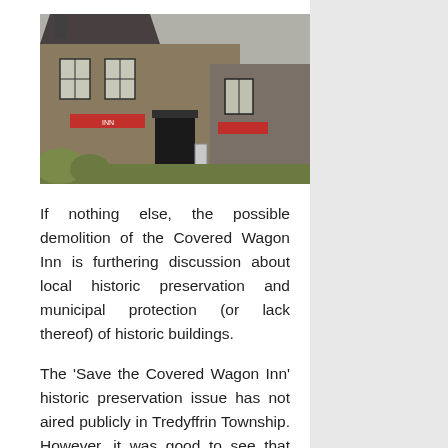[Figure (photo): Photograph of the Covered Wagon Inn, a two-story stone building with signage visible on the facade.]
If nothing else, the possible demolition of the Covered Wagon Inn is furthering discussion about local historic preservation and municipal protection (or lack thereof) of historic buildings.
The 'Save the Covered Wagon Inn' historic preservation issue has not aired publicly in Tredyffrin Township. However, it was good to see that Radnor Township Board of Commissioners used the precarious future of the old inn in Tredyffrin, as an impetus to discuss...